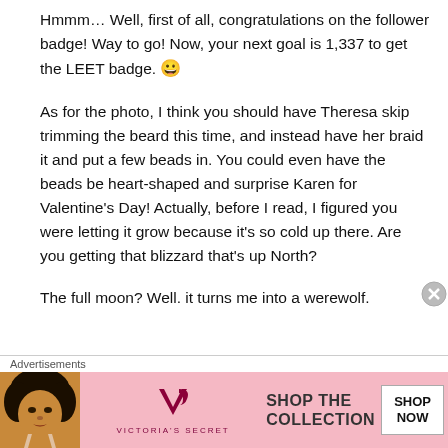Hmmm… Well, first of all, congratulations on the follower badge! Way to go! Now, your next goal is 1,337 to get the LEET badge. 😀
As for the photo, I think you should have Theresa skip trimming the beard this time, and instead have her braid it and put a few beads in. You could even have the beads be heart-shaped and surprise Karen for Valentine's Day! Actually, before I read, I figured you were letting it grow because it's so cold up there. Are you getting that blizzard that's up North?
The full moon? Well. it turns me into a werewolf.
Advertisements
[Figure (illustration): Victoria's Secret advertisement banner with a woman's photo on the left, VS logo in center, 'SHOP THE COLLECTION' text, and 'SHOP NOW' button on the right, pink background.]